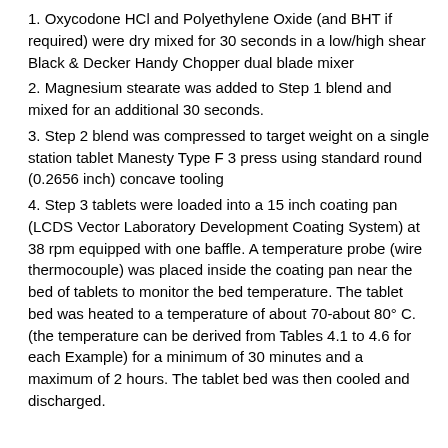1. Oxycodone HCl and Polyethylene Oxide (and BHT if required) were dry mixed for 30 seconds in a low/high shear Black & Decker Handy Chopper dual blade mixer
2. Magnesium stearate was added to Step 1 blend and mixed for an additional 30 seconds.
3. Step 2 blend was compressed to target weight on a single station tablet Manesty Type F 3 press using standard round (0.2656 inch) concave tooling
4. Step 3 tablets were loaded into a 15 inch coating pan (LCDS Vector Laboratory Development Coating System) at 38 rpm equipped with one baffle. A temperature probe (wire thermocouple) was placed inside the coating pan near the bed of tablets to monitor the bed temperature. The tablet bed was heated to a temperature of about 70-about 80° C. (the temperature can be derived from Tables 4.1 to 4.6 for each Example) for a minimum of 30 minutes and a maximum of 2 hours. The tablet bed was then cooled and discharged.